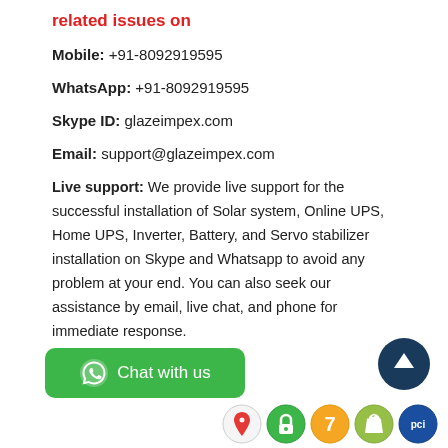related issues on
Mobile: +91-8092919595
WhatsApp: +91-8092919595
Skype ID: glazeimpex.com
Email: support@glazeimpex.com
Live support: We provide live support for the successful installation of Solar system, Online UPS, Home UPS, Inverter, Battery, and Servo stabilizer installation on Skype and Whatsapp to avoid any problem at your end. You can also seek our assistance by email, live chat, and phone for immediate response.
[Figure (illustration): Green WhatsApp Chat with us button]
[Figure (illustration): Scroll up dark blue circular button with upward arrow]
[Figure (illustration): Footer icons: Google Maps pin, green lock, number 7 badge, Shopify bag, PCI badge]